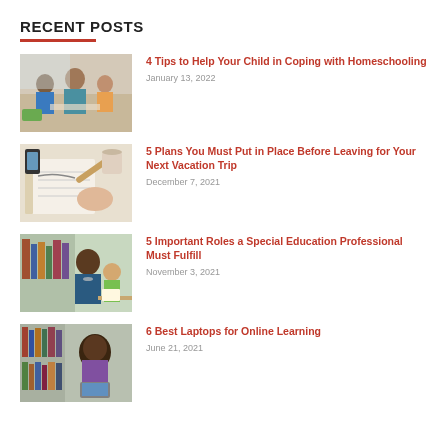RECENT POSTS
4 Tips to Help Your Child in Coping with Homeschooling | January 13, 2022
5 Plans You Must Put in Place Before Leaving for Your Next Vacation Trip | December 7, 2021
5 Important Roles a Special Education Professional Must Fulfill | November 3, 2021
6 Best Laptops for Online Learning | June 21, 2021